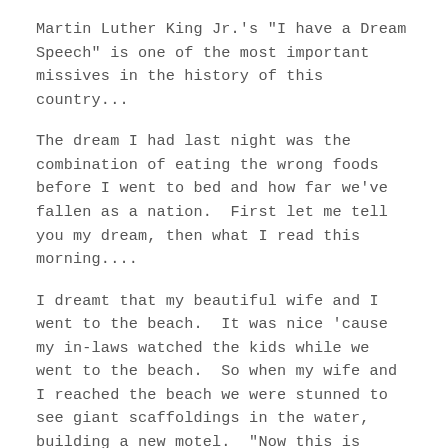Martin Luther King Jr.'s "I have a Dream Speech" is one of the most important missives in the history of this country...
The dream I had last night was the combination of eating the wrong foods before I went to bed and how far we've fallen as a nation.  First let me tell you my dream, then what I read this morning....
I dreamt that my beautiful wife and I went to the beach.  It was nice 'cause my in-laws watched the kids while we went to the beach.  So when my wife and I reached the beach we were stunned to see giant scaffoldings in the water, building a new motel.  "Now this is America, nothing surprises me anymore,"